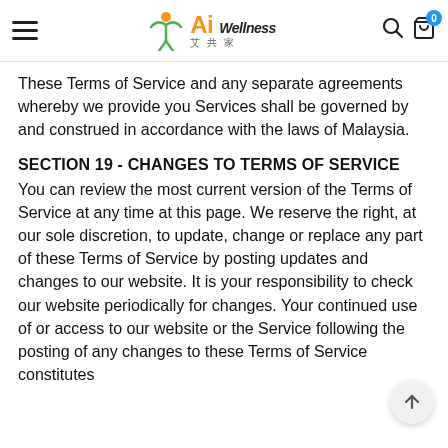Ai Wellness 艾共家 — navigation header with hamburger menu, search icon, and cart icon
These Terms of Service and any separate agreements whereby we provide you Services shall be governed by and construed in accordance with the laws of Malaysia.
SECTION 19 - CHANGES TO TERMS OF SERVICE
You can review the most current version of the Terms of Service at any time at this page. We reserve the right, at our sole discretion, to update, change or replace any part of these Terms of Service by posting updates and changes to our website. It is your responsibility to check our website periodically for changes. Your continued use of or access to our website or the Service following the posting of any changes to these Terms of Service constitutes acceptance of those changes.